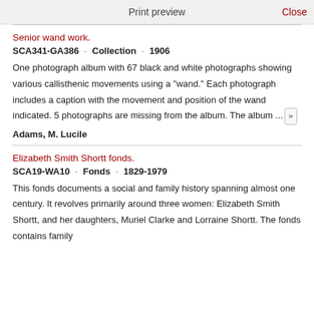Print preview   Close
Senior wand work.
SCA341-GA386 · Collection · 1906
One photograph album with 67 black and white photographs showing various callisthenic movements using a "wand." Each photograph includes a caption with the movement and position of the wand indicated. 5 photographs are missing from the album. The album ... »
Adams, M. Lucile
Elizabeth Smith Shortt fonds.
SCA19-WA10 · Fonds · 1829-1979
This fonds documents a social and family history spanning almost one century. It revolves primarily around three women: Elizabeth Smith Shortt, and her daughters, Muriel Clarke and Lorraine Shortt. The fonds contains family